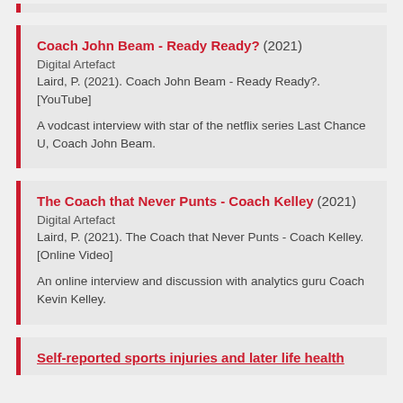Coach John Beam - Ready Ready? (2021)
Digital Artefact
Laird, P. (2021). Coach John Beam - Ready Ready?. [YouTube]
A vodcast interview with star of the netflix series Last Chance U, Coach John Beam.
The Coach that Never Punts - Coach Kelley (2021)
Digital Artefact
Laird, P. (2021). The Coach that Never Punts - Coach Kelley. [Online Video]
An online interview and discussion with analytics guru Coach Kevin Kelley.
Self-reported sports injuries and later life health